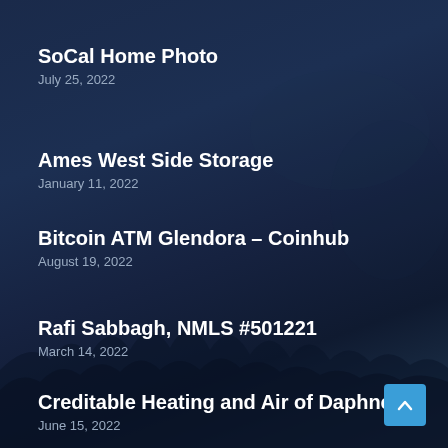SoCal Home Photo
July 25, 2022
Ames West Side Storage
January 11, 2022
Bitcoin ATM Glendora – Coinhub
August 19, 2022
Rafi Sabbagh, NMLS #501221
March 14, 2022
Creditable Heating and Air of Daphne
June 15, 2022